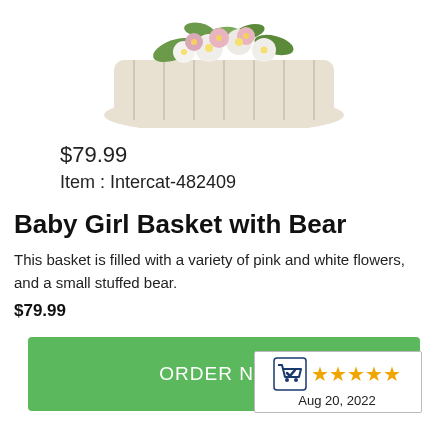[Figure (photo): Partial view of a floral arrangement basket with pink and white flowers and greenery, cropped at top of page]
$79.99
Item : Intercat-482409
Baby Girl Basket with Bear
This basket is filled with a variety of pink and white flowers, and a small stuffed bear.
$79.99
[Figure (other): Green ORDER NOW button with a rating badge showing a shopping cart checkmark logo and 5 gold stars, dated Aug 20, 2022]